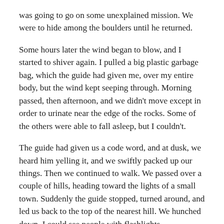was going to go on some unexplained mission. We were to hide among the boulders until he returned.
Some hours later the wind began to blow, and I started to shiver again. I pulled a big plastic garbage bag, which the guide had given me, over my entire body, but the wind kept seeping through. Morning passed, then afternoon, and we didn't move except in order to urinate near the edge of the rocks. Some of the others were able to fall asleep, but I couldn't.
The guide had given us a code word, and at dusk, we heard him yelling it, and we swiftly packed up our things. Then we continued to walk. We passed over a couple of hills, heading toward the lights of a small town. Suddenly the guide stopped, turned around, and led us back to the top of the nearest hill. We hunched down. I could see people with flashlights,